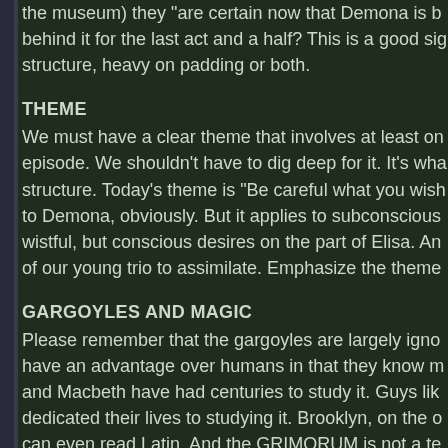the museum) they "are certain now that Demona is behind it for the last act and a half? This is a good structure, heavy on padding or both.
THEME
We must have a clear theme that involves at least one episode. We shouldn't have to dig deep for it. It's what structure. Today's theme is "Be careful what you wish to Demona, obviously. But it applies to subconscious wistful, but conscious desires on the part of Elisa. And of our young trio to assimilate. Emphasize the theme
GARGOYLES AND MAGIC
Please remember that the gargoyles are largely ignorant have an advantage over humans in that they know magic and Macbeth have had centuries to study it. Guys like dedicated their lives to studying it. Brooklyn, on the other can even read Latin. And the GRIMORUM is not a textbook answers even if he could read it. It is, in essence, a there's no way to infer very much about it from the reading. Magus had the sleep spell he used on the gargoyles. training, he couldn't wake them up without the assistance